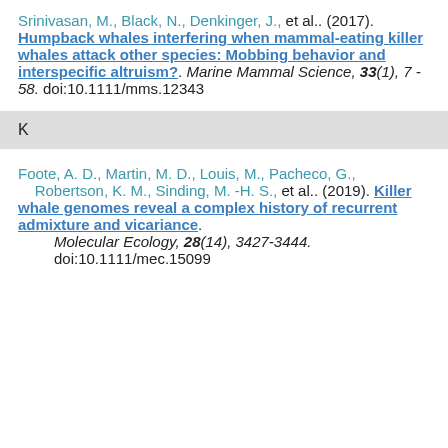Srinivasan, M., Black, N., Denkinger, J., et al.. (2017). Humpback whales interfering when mammal-eating killer whales attack other species: Mobbing behavior and interspecific altruism?. Marine Mammal Science, 33(1), 7 - 58. doi:10.1111/mms.12343
K
Foote, A. D., Martin, M. D., Louis, M., Pacheco, G., Robertson, K. M., Sinding, M. -H. S., et al.. (2019). Killer whale genomes reveal a complex history of recurrent admixture and vicariance. Molecular Ecology, 28(14), 3427-3444. doi:10.1111/mec.15099